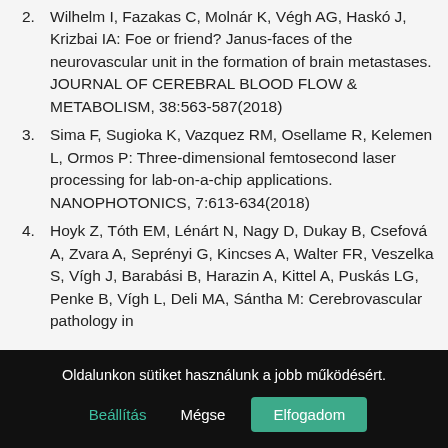2. Wilhelm I, Fazakas C, Molnár K, Végh AG, Haskó J, Krizbai IA: Foe or friend? Janus-faces of the neurovascular unit in the formation of brain metastases. JOURNAL OF CEREBRAL BLOOD FLOW & METABOLISM, 38:563-587(2018)
3. Sima F, Sugioka K, Vazquez RM, Osellame R, Kelemen L, Ormos P: Three-dimensional femtosecond laser processing for lab-on-a-chip applications. NANOPHOTONICS, 7:613-634(2018)
4. Hoyk Z, Tóth EM, Lénárt N, Nagy D, Dukay B, Csefová A, Zvara A, Seprényi G, Kincses A, Walter FR, Veszelka S, Vígh J, Barabási B, Harazin A, Kittel A, Puskás LG, Penke B, Vígh L, Deli MA, Sántha M: Cerebrovascular pathology in
Oldalunkon sütiket használunk a jobb működésért.
Beállítás | Mégse | Elfogadom